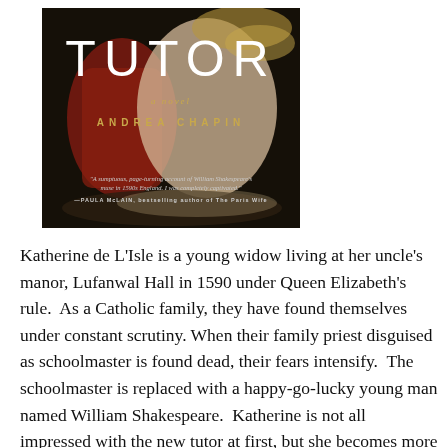[Figure (illustration): Book cover of 'Tutor: A Novel' by Andrea Chapin. Dark background with a renaissance-style portrait figure in red clothing. Title 'TUTOR' in large white letters at top, 'a novel' in gold italic below, 'ANDREA CHAPIN' in gold spaced capitals. A quote from Paula McLain at the bottom of the cover.]
Katherine de L'Isle is a young widow living at her uncle's manor, Lufanwal Hall in 1590 under Queen Elizabeth's rule.  As a Catholic family, they have found themselves under constant scrutiny. When their family priest disguised as schoolmaster is found dead, their fears intensify.  The schoolmaster is replaced with a happy-go-lucky young man named William Shakespeare.  Katherine is not all impressed with the new tutor at first, but she becomes more